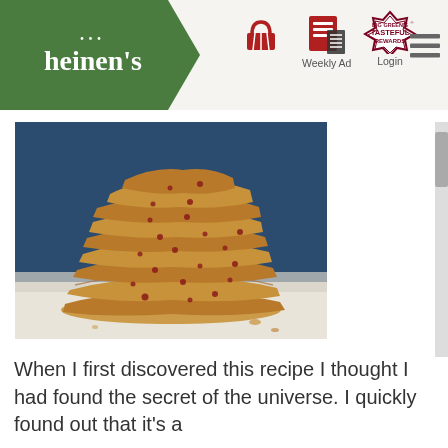heinen's — Weekly Ad — Login — Tasteful Rewards — Menu
[Figure (photo): Stack of thin, crispy pecan brittle or praline bark pieces piled high on a white surface against a dark blue background]
When I first discovered this recipe I thought I had found the secret of the universe. I quickly found out that it's a